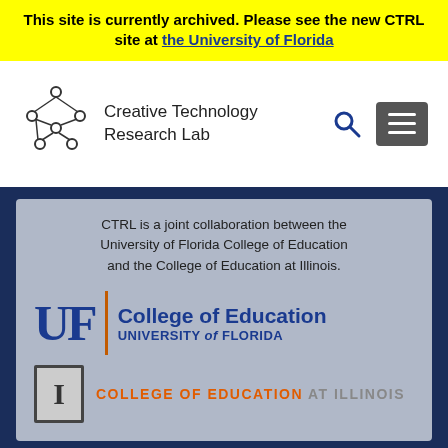This site is currently archived. Please see the new CTRL site at the University of Florida
[Figure (logo): Creative Technology Research Lab logo — geometric network/node graphic with text 'Creative Technology Research Lab']
[Figure (logo): University of Florida College of Education logo — 'UF | College of Education UNIVERSITY of FLORIDA']
[Figure (logo): College of Education at Illinois logo — Block I mark with 'COLLEGE OF EDUCATION AT ILLINOIS']
CTRL is a joint collaboration between the University of Florida College of Education and the College of Education at Illinois.